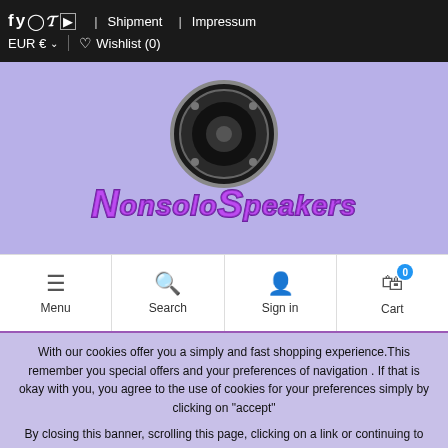f y ☐ p ▶ Shipment | Impressum EUR € ∨ ♡ Wishlist (0)
[Figure (logo): NonsoloSpeakers logo with a speaker image above purple stylized text reading NONSOLOSPEAKERS on a lavender background]
Menu | Search | Sign in | Cart (0)
With our cookies offer you a simply and fast shopping experience. This remember you special offers and your preferences of navigation . If that is okay with you, you agree to the use of cookies for your preferences simply by clicking on "accept"
By closing this banner, scrolling this page, clicking on a link or continuing to browse in any other way, you consent to the use of cookies.
Accept